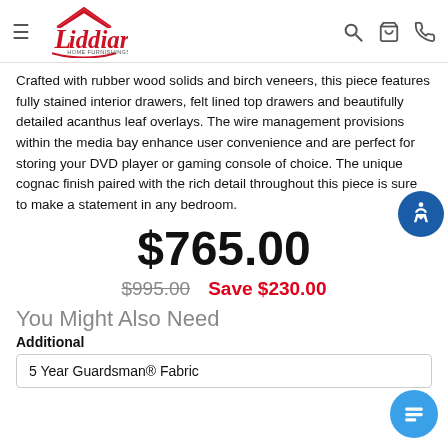Liddiard Home Furnishings
Crafted with rubber wood solids and birch veneers, this piece features fully stained interior drawers, felt lined top drawers and beautifully detailed acanthus leaf overlays. The wire management provisions within the media bay enhance user convenience and are perfect for storing your DVD player or gaming console of choice. The unique cognac finish paired with the rich detail throughout this piece is sure to make a statement in any bedroom.
$765.00
$995.00  Save $230.00
You Might Also Need
Additional
5 Year Guardsman® Fabric